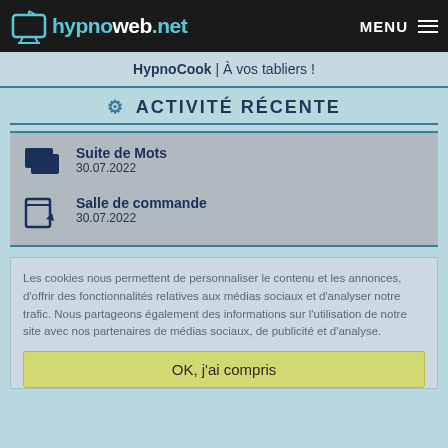hypnoweb.net MENU
HypnoCook | À vos tabliers !
ACTIVITÉ RÉCENTE
Suite de Mots
30.07.2022
Salle de commande
30.07.2022
Les cookies nous permettent de personnaliser le contenu et les annonces, d'offrir des fonctionnalités relatives aux médias sociaux et d'analyser notre trafic. Nous partageons également des informations sur l'utilisation de notre site avec nos partenaires de médias sociaux, de publicité et d'analyse.
OK, j'ai compris